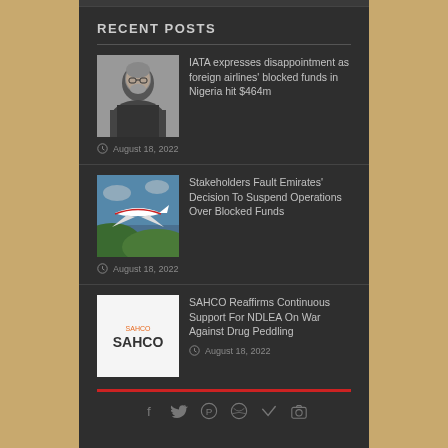RECENT POSTS
IATA expresses disappointment as foreign airlines' blocked funds in Nigeria hit $464m — August 18, 2022
Stakeholders Fault Emirates' Decision To Suspend Operations Over Blocked Funds — August 18, 2022
SAHCO Reaffirms Continuous Support For NDLEA On War Against Drug Peddling — August 18, 2022
f  ⊕  ®  ✈  ✓  📷